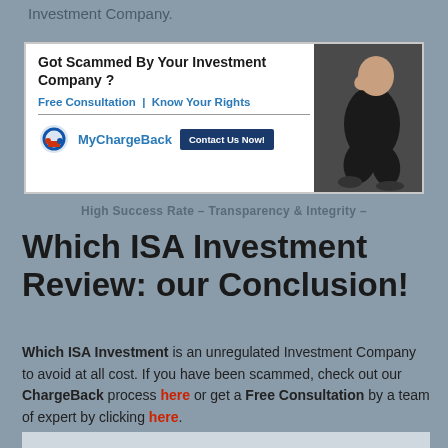Investment Company.
[Figure (infographic): Advertisement banner for MyChargeBack: 'Got Scammed By Your Investment Company?' with subheading 'Free Consultation | Know Your Rights', MyChargeBack logo, 'Contact Us Now!' button, and a photo of a distressed man crouching.]
High Success Rate - Transparency & Integrity -
Which ISA Investment Review: our Conclusion!
Which ISA Investment is an unregulated Investment Company to avoid at all cost. If you have been scammed, check out our ChargeBack process here or get a Free Consultation by a team of expert by clicking here.